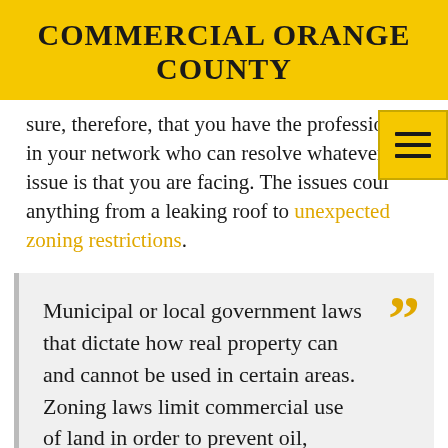COMMERCIAL ORANGE COUNTY
sure, therefore, that you have the professionals in your network who can resolve whatever issue is that you are facing. The issues could anything from a leaking roof to unexpected zoning restrictions.
Municipal or local government laws that dictate how real property can and cannot be used in certain areas. Zoning laws limit commercial use of land in order to prevent oil, manufacturing or other types of businesses from building